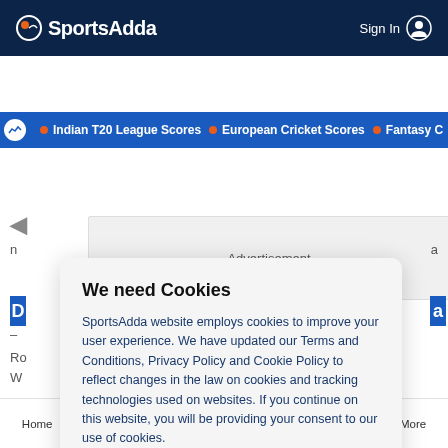SportsAdda — Sign In
• Indian T20 League Scores • European Cricket Scores • Fantasy C
[Figure (screenshot): Advertisement placeholder box]
We need Cookies
SportsAdda website employs cookies to improve your user experience. We have updated our Terms and Conditions, Privacy Policy and Cookie Policy to reflect changes in the law on cookies and tracking technologies used on websites. If you continue on this website, you will be providing your consent to our use of cookies.
Agree
Home  Cricket Scores  Tips & Predictions  Football  More